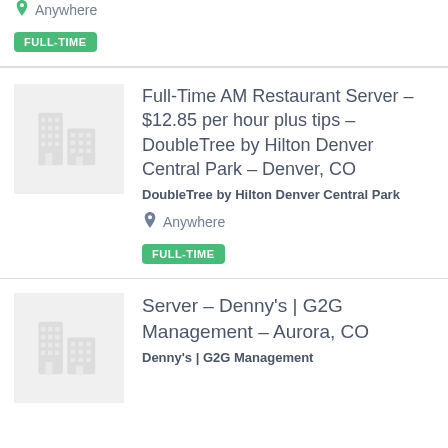Anywhere
FULL-TIME
Full-Time AM Restaurant Server – $12.85 per hour plus tips – DoubleTree by Hilton Denver Central Park – Denver, CO
DoubleTree by Hilton Denver Central Park
Anywhere
FULL-TIME
Server – Denny's | G2G Management – Aurora, CO
Denny's | G2G Management